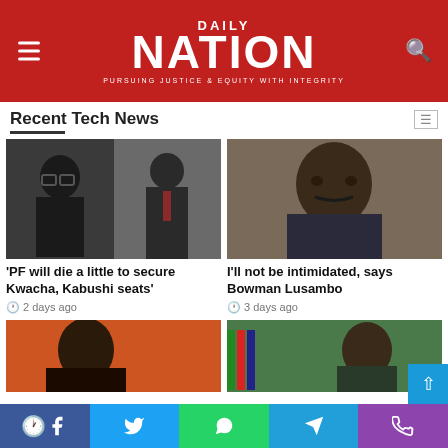DAILY NATION — PURSUING JUSTICE & EQUITY WITH INTEGRITY
Recent Tech News
[Figure (photo): Two men in formal attire, composite photo]
'PF will die a little to secure Kwacha, Kabushi seats'
2 days ago
[Figure (photo): Man with beard in blue suit, looking stern]
I'll not be intimidated, says Bowman Lusambo
3 days ago
[Figure (photo): Man against colorful background]
[Figure (photo): Man with flags in background]
Facebook | Twitter | WhatsApp | Telegram | Phone